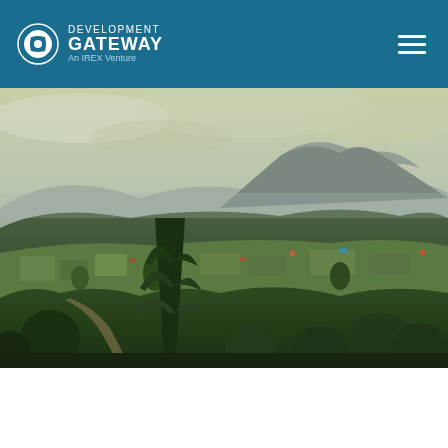Development Gateway: An IREX Venture
[Figure (photo): Aerial landscape photo of a green hilly African countryside with scattered settlements, trees, and a distant mountain peak under a cloudy sky]
Data & Digital Solutions